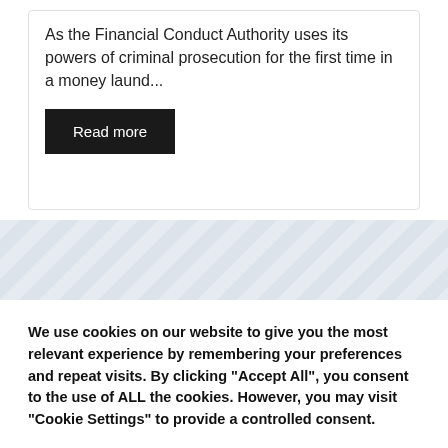As the Financial Conduct Authority uses its powers of criminal prosecution for the first time in a money laund...
Read more
[Figure (other): Diagonal stripe decorative background section in light grey/blue tones]
We use cookies on our website to give you the most relevant experience by remembering your preferences and repeat visits. By clicking “Accept All”, you consent to the use of ALL the cookies. However, you may visit "Cookie Settings" to provide a controlled consent.
Cookie Settings
Accept All